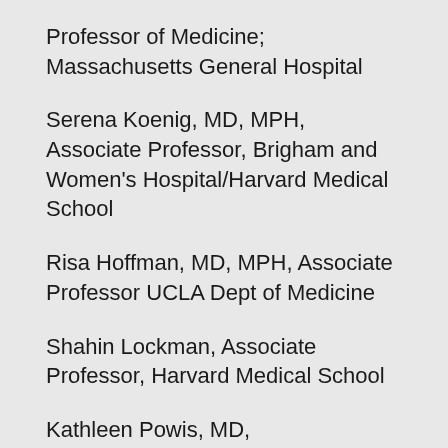Professor of Medicine; Massachusetts General Hospital
Serena Koenig, MD, MPH, Associate Professor, Brigham and Women's Hospital/Harvard Medical School
Risa Hoffman, MD, MPH, Associate Professor UCLA Dept of Medicine
Shahin Lockman, Associate Professor, Harvard Medical School
Kathleen Powis, MD, Massachusetts General Hospital